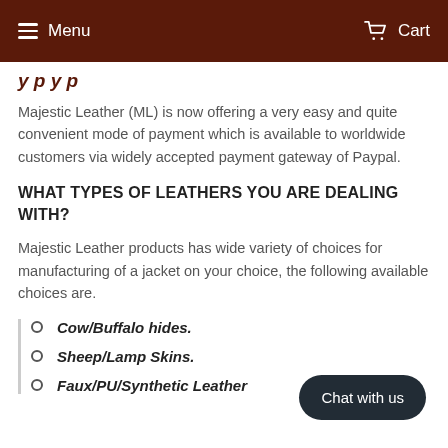Menu   Cart
…y p y p…
Majestic Leather (ML) is now offering a very easy and quite convenient mode of payment which is available to worldwide customers via widely accepted payment gateway of Paypal.
WHAT TYPES OF LEATHERS YOU ARE DEALING WITH?
Majestic Leather products has wide variety of choices for manufacturing of a jacket on your choice, the following available choices are.
Cow/Buffalo hides.
Sheep/Lamp Skins.
Faux/PU/Synthetic Leather